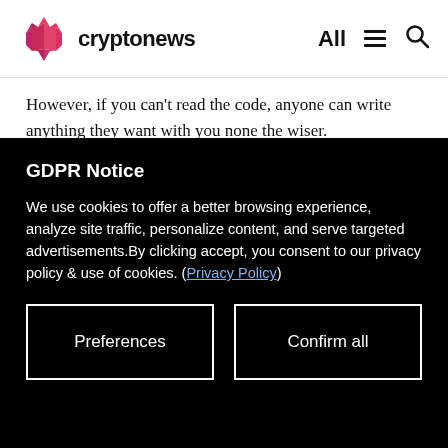cryptonews — All
However, if you can't read the code, anyone can write anything they want with you none the wiser.
They can't get real-world information: smart contracts can't access information from outside the blockchain because that might jeopardize consensus. So-called oracles are used to overcome this obstacle.
GDPR Notice
We use cookies to offer a better browsing experience, analyze site traffic, personalize content, and serve targeted advertisements.By clicking accept, you consent to our privacy policy & use of cookies. (Privacy Policy)
Preferences
Confirm all